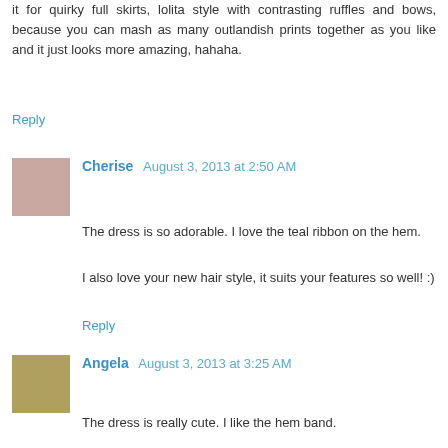it for quirky full skirts, lolita style with contrasting ruffles and bows, because you can mash as many outlandish prints together as you like and it just looks more amazing, hahaha.
Reply
Cherise  August 3, 2013 at 2:50 AM
The dress is so adorable. I love the teal ribbon on the hem.
I also love your new hair style, it suits your features so well! :)
Reply
Angela  August 3, 2013 at 3:25 AM
The dress is really cute. I like the hem band.
Reply